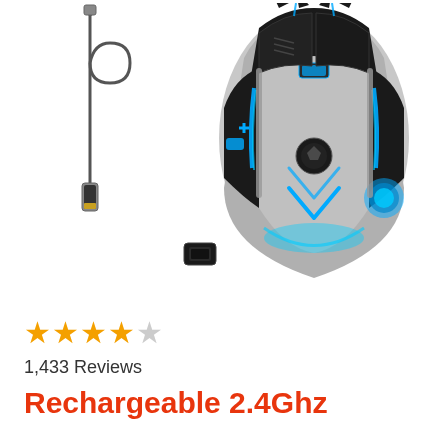[Figure (photo): Product photo of a black and silver wireless gaming mouse with blue LED lighting, shown with USB cable and USB dongle receiver on white background]
★★★★☆
1,433 Reviews
Rechargeable 2.4Ghz